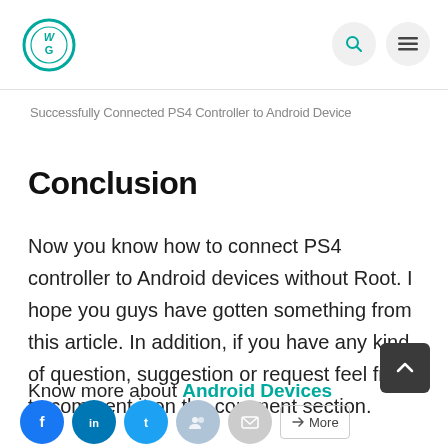[Figure (logo): Circular teal logo with letters WG inside]
Successfully Connected PS4 Controller to Android Device
Conclusion
Now you know how to connect PS4 controller to Android devices without Root. I hope you guys have gotten something from this article. In addition, if you have any kind of question, suggestion or request feel free to comment it on the comment section.
Know more about Android Devices
[Figure (other): Social share buttons row: Facebook, LinkedIn, Twitter, and more options, plus a back-to-top button]